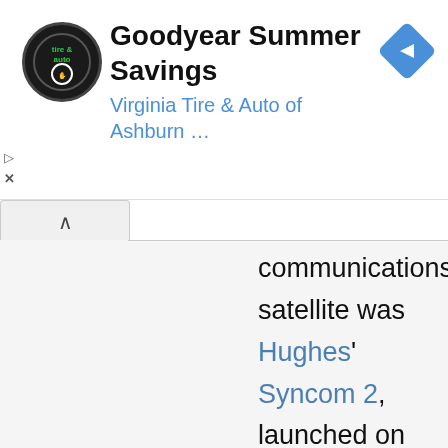[Figure (screenshot): Advertisement banner for Goodyear Summer Savings by Virginia Tire & Auto of Ashburn, with circular logo, text, and blue diamond arrow icon]
communications satellite was Hughes' Syncom 2, launched on July 26 1963. However,